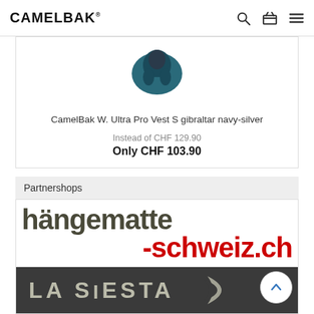CAMELBAK
CamelBak W. Ultra Pro Vest S gibraltar navy-silver
Instead of CHF 129.90
Only CHF 103.90
Partnershops
[Figure (logo): hängematte-schweiz.ch logo in dark olive and red text]
[Figure (logo): LA SIESTA logo on dark grey background]